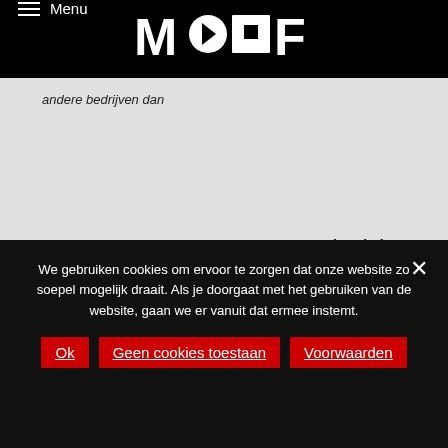Menu | MOOOF
andere bedrijven dan
Bezoek website →
< 1 2
We gebruiken cookies om ervoor te zorgen dat onze website zo soepel mogelijk draait. Als je doorgaat met het gebruiken van de website, gaan we er vanuit dat ermee instemt.
Ok
Geen cookies toestaan
Voorwaarden